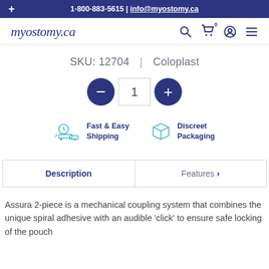+ 1-800-883-5615 | info@myostomy.ca
[Figure (logo): myostomy.ca logo in dark blue italic script font, with navigation icons (search, cart with 0, user, menu)]
SKU: 12704 | Coloplast
[Figure (other): Quantity selector with minus button (dark blue circle), input box showing 1, plus button (dark blue circle)]
[Figure (infographic): Fast & Easy Shipping icon (clock with delivery truck) and Discreet Packaging icon (box outline) with labels]
Description | Features >
Assura 2-piece is a mechanical coupling system that combines the unique spiral adhesive with an audible 'click' to ensure safe locking of the pouch